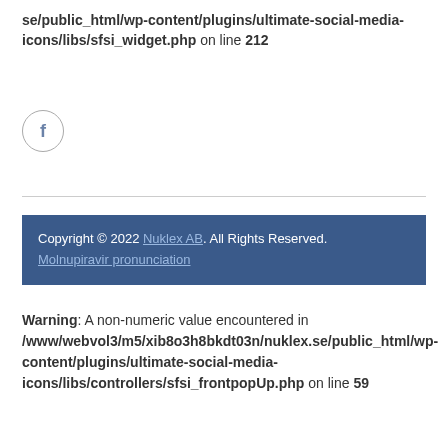se/public_html/wp-content/plugins/ultimate-social-media-icons/libs/sfsi_widget.php on line 212
[Figure (illustration): Facebook icon: a circle with the letter f inside]
Copyright © 2022 Nuklex AB. All Rights Reserved. Molnupiravir pronunciation
Warning: A non-numeric value encountered in /www/webvol3/m5/xib8o3h8bkdt03n/nuklex.se/public_html/wp-content/plugins/ultimate-social-media-icons/libs/controllers/sfsi_frontpopUp.php on line 59